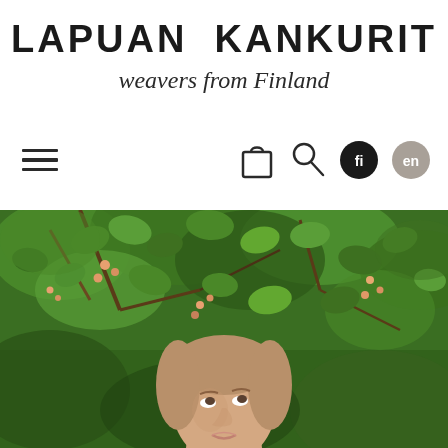LAPUAN KANKURIT
weavers from Finland
[Figure (other): Navigation bar with hamburger menu on left, and icons on right: shopping bag, search/magnifying glass, 'fi' language button (black circle), 'en' language button (grey circle)]
[Figure (photo): A young woman with light brown hair pulled back, looking upward, surrounded by green foliage with branches and small pink/orange berries in a natural outdoor setting]